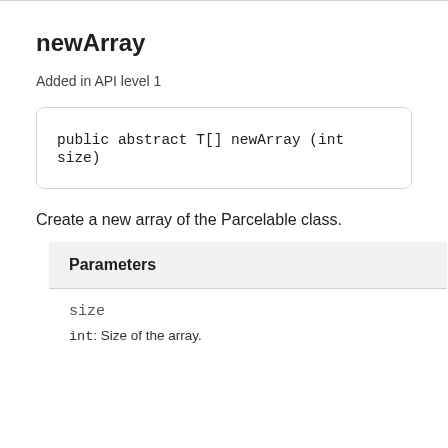newArray
Added in API level 1
public abstract T[] newArray (int size)
Create a new array of the Parcelable class.
| Parameters |
| --- |
| size | int: Size of the array. |